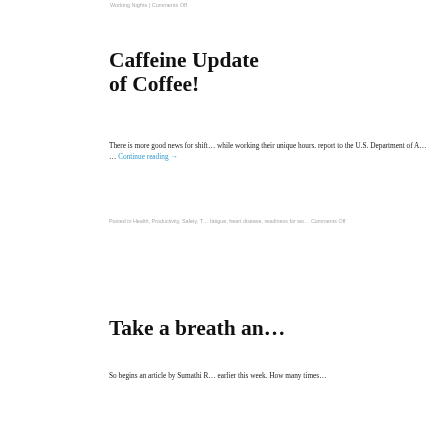Working Nights | Comments Off
Caffeine Update... of Coffee!
There is more good news for shift... while working their unique hours. ...report to the U.S. Department of A... … Continue reading →
Posted in Health, Productivity, Safety, T... fatigue, heart disease, readiness for wo... Comments Off
Take a breath an...
So begins an article by Sumathi R... earlier this week. How many times...